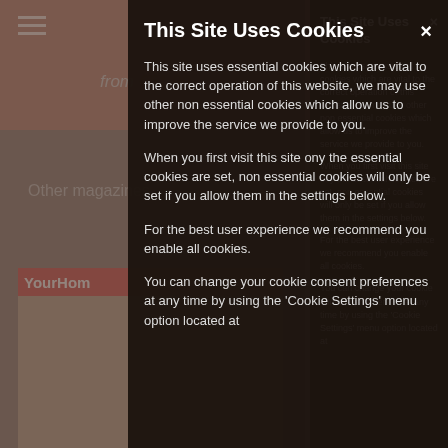[Figure (screenshot): Background website page showing a magazine subscription site with 'Your Home' magazine cover, price from €51.00, and other magazine listings. The background is dimmed by a dark overlay due to the cookie consent modal.]
This Site Uses Cookies
This site uses essential cookies which are vital to the correct operation of this website, we may use other non essential cookies which allow us to improve the service we provide to you.
When you first visit this site ony the essential cookies are set, non essential cookies will only be set if you allow them in the settings below.
For the best user experience we recommend you enable all cookies.
You can change your cookie consent preferences at any time by using the 'Cookie Settings' menu option located at